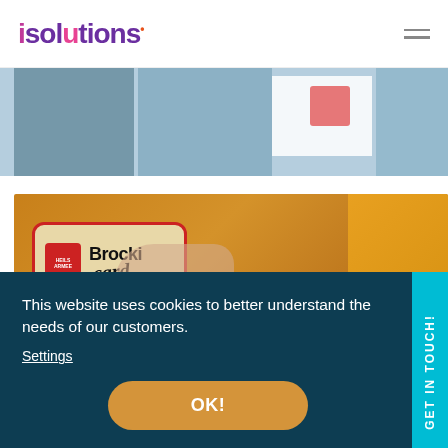isolutions
[Figure (photo): Partial view of images/content at top of page, showing blue-toned imagery]
[Figure (photo): Photo of a person wearing a yellow/mustard sweater holding a Brocki card (Heilsarmee/Salvation Army loyalty card)]
This website uses cookies to better understand the needs of our customers.
Settings
OK!
GET IN TOUCH!
[Figure (photo): Partial bottom image strip showing red elements]